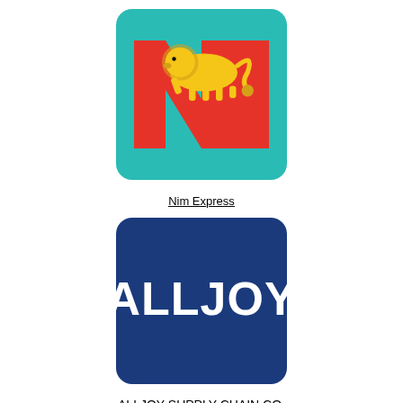[Figure (logo): Nim Express logo: teal/cyan square with rounded corners, featuring a red letter N shape and a yellow running lion on top]
Nim Express
[Figure (logo): ALLJOY logo: dark navy blue square with rounded corners, white bold text reading ALLJOY]
ALLJOY SUPPLY CHAIN CO.
[Figure (logo): Doora Logistics logo: light blue square with rounded corners, orange swoosh/arrow shape with dark blue text reading DOORA]
Doora Logistics